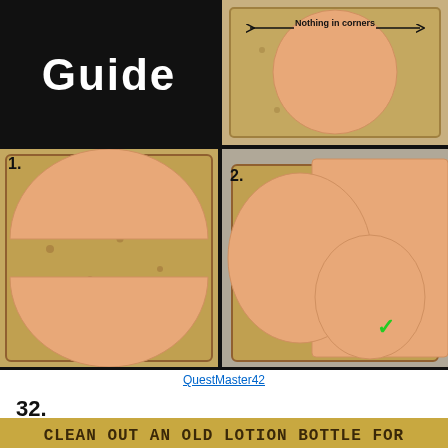[Figure (infographic): Guide showing how to fold round deli meat to cover square bread corners. Top-left: title 'Guide' on black. Top-right: round meat on bread with 'Nothing in corners' label and arrows. Bottom-left step 1: two semicircles of meat on bread, leaving middle exposed. Bottom-right step 2: one round and two cut pieces of meat fully covering bread with green checkmark.]
QuestMaster42
32.
CLEAN OUT AN OLD LOTION BOTTLE FOR